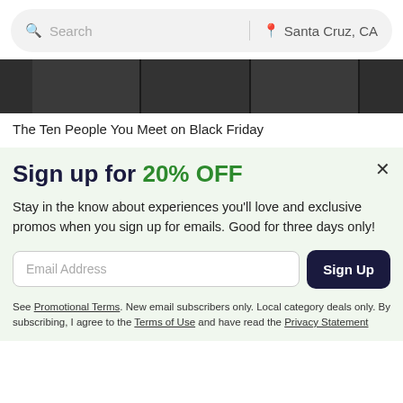Search | Santa Cruz, CA
[Figure (photo): Dark grid/tiled background image, partially cropped, dark gray tones]
The Ten People You Meet on Black Friday
Sign up for 20% OFF
Stay in the know about experiences you'll love and exclusive promos when you sign up for emails. Good for three days only!
Email Address
Sign Up
See Promotional Terms. New email subscribers only. Local category deals only. By subscribing, I agree to the Terms of Use and have read the Privacy Statement